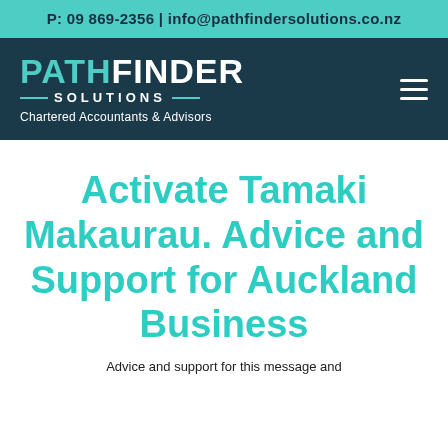P: 09 869-2356 | info@pathfindersolutions.co.nz
[Figure (logo): Pathfinder Solutions logo with teal and white text on dark navy background, showing PATHFINDER SOLUTIONS Chartered Accountants & Advisors, with hamburger menu icon on right]
Activate Tamaki Makaurau. Advice and Support for Auckland Business
Advice and support for this message and